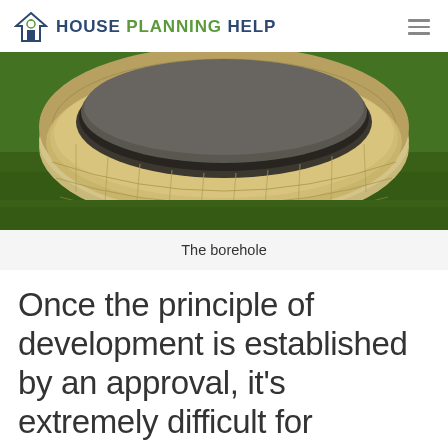House Planning Help
[Figure (photo): A circular stone borehole/well structure made of stacked limestone blocks, set in a green grass lawn. The well is viewed from slightly above, showing the interior which appears dark.]
The borehole
Once the principle of development is established by an approval, it's extremely difficult for